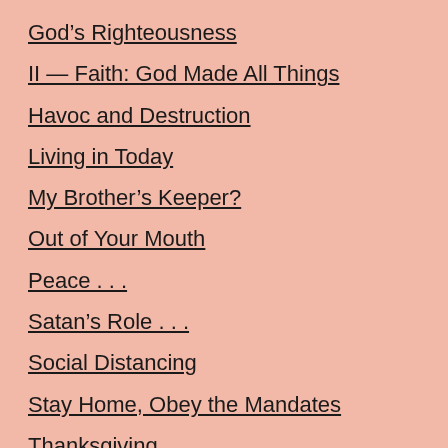God's Righteousness
II — Faith: God Made All Things
Havoc and Destruction
Living in Today
My Brother's Keeper?
Out of Your Mouth
Peace . . .
Satan's Role . . .
Social Distancing
Stay Home, Obey the Mandates
Thanksgiving
The Healing Power of Faith
Walking in the Spirit